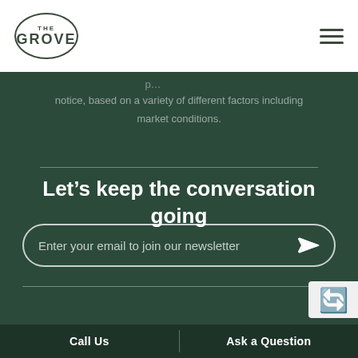[Figure (logo): The Grove logo in an oval border, with 'THE' in small caps above 'GROVE' in bold capitals]
notice, based on a variety of different factors including market conditions.
Let’s keep the conversation going
Enter your email to join our newsletter
Call Us | Ask a Question